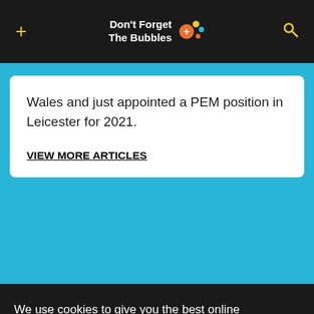Don't Forget The Bubbles
Wales and just appointed a PEM position in Leicester for 2021.
VIEW MORE ARTICLES
We use cookies to give you the best online experience and enable us to deliver the DFTB content you want to see. For more information, read our full privacy policy here.
Accept All
Dismiss